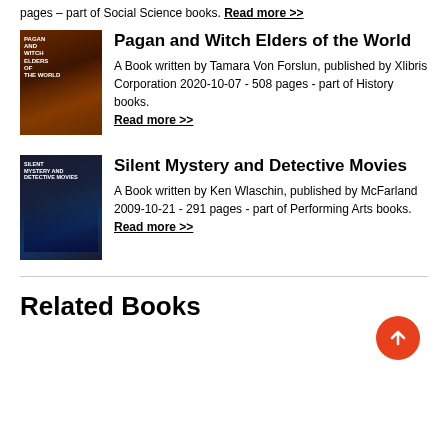pages – part of Social Science books. Read more >>
Pagan and Witch Elders of the World
A Book written by Tamara Von Forslun, published by Xlibris Corporation 2020-10-07 - 508 pages - part of History books. Read more >>
[Figure (photo): Book cover of Pagan and Witch Elders of the World]
Silent Mystery and Detective Movies
A Book written by Ken Wlaschin, published by McFarland 2009-10-21 - 291 pages - part of Performing Arts books. Read more >>
[Figure (photo): Book cover of Silent Mystery and Detective Movies]
Related Books